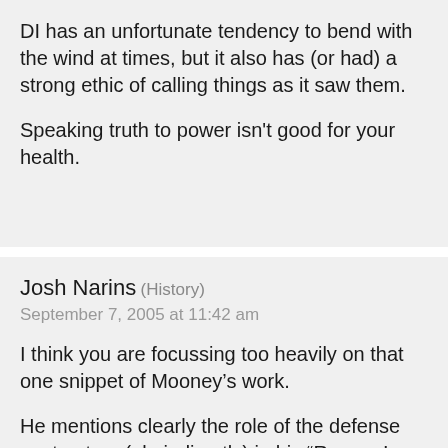DI has an unfortunate tendency to bend with the wind at times, but it also has (or had) a strong ethic of calling things as it saw them.
Speaking truth to power isn't good for your health.
Josh Narins (History)
September 7, 2005 at 11:42 am
I think you are focussing too heavily on that one snippet of Mooney’s work.
He mentions clearly the role of the defense contractors (ok, indirectly) in his “Reagan’s Revenge” for stopping SDI.